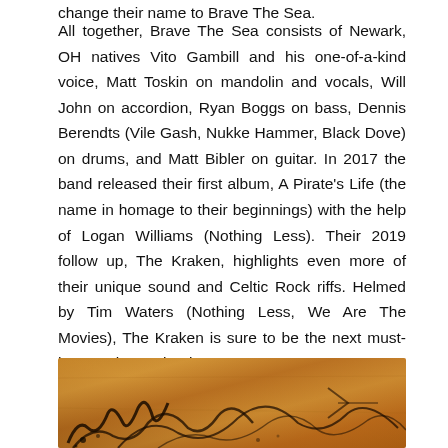change their name to Brave The Sea.
All together, Brave The Sea consists of Newark, OH natives Vito Gambill and his one-of-a-kind voice, Matt Toskin on mandolin and vocals, Will John on accordion, Ryan Boggs on bass, Dennis Berendts (Vile Gash, Nukke Hammer, Black Dove) on drums, and Matt Bibler on guitar. In 2017 the band released their first album, A Pirate's Life (the name in homage to their beginnings) with the help of Logan Williams (Nothing Less). Their 2019 follow up, The Kraken, highlights even more of their unique sound and Celtic Rock riffs. Helmed by Tim Waters (Nothing Less, We Are The Movies), The Kraken is sure to be the next must-have Celtc Punk release.
[Figure (photo): Partial image at bottom of page showing what appears to be an album or band artwork with a brownish/golden background and decorative calligraphic text, partially cropped]